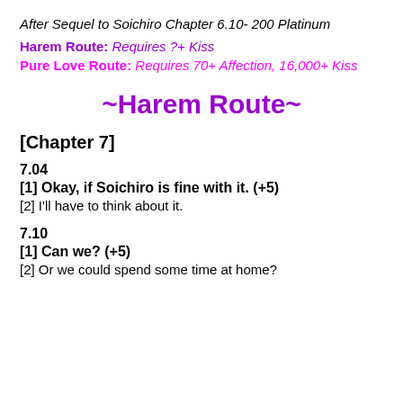After Sequel to Soichiro Chapter 6.10- 200 Platinum
Harem Route: Requires ?+ Kiss
Pure Love Route: Requires 70+ Affection, 16,000+ Kiss
~Harem Route~
[Chapter 7]
7.04
[1] Okay, if Soichiro is fine with it. (+5)
[2] I'll have to think about it.
7.10
[1] Can we? (+5)
[2] Or we could spend some time at home?